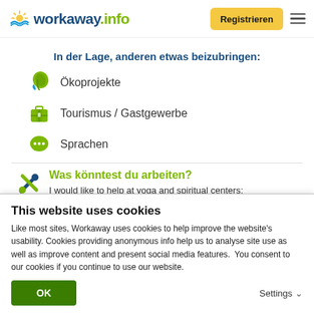workaway.info — Registrieren
In der Lage, anderen etwas beizubringen:
Ökoprojekte
Tourismus / Gastgewerbe
Sprachen
Was könntest du arbeiten?
I would like to help at yoga and spiritual centers; scuba diving and free diving centers; but also I am
This website uses cookies
Like most sites, Workaway uses cookies to help improve the website's usability. Cookies providing anonymous info help us to analyse site use as well as improve content and present social media features.  You consent to our cookies if you continue to use our website.
OK
Settings